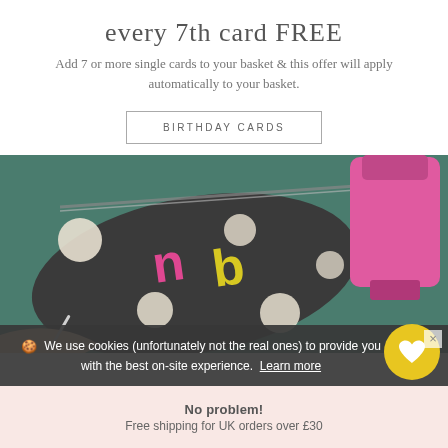every 7th card FREE
Add 7 or more single cards to your basket & this offer will apply automatically to your basket.
BIRTHDAY CARDS
[Figure (photo): Photo of a dark grey polka-dot pouch/purse with pink and yellow 'nb' lettering, a pink nail polish bottle in the background, on a green surface. A hand holding a nail tool is visible in the lower left.]
We use cookies (unfortunately not the real ones) to provide you with the best on-site experience. Learn more
No problem!
Free shipping for UK orders over £30